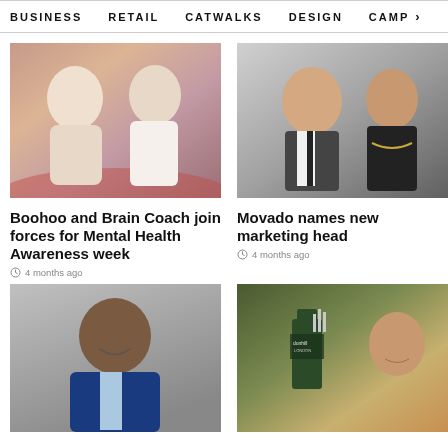BUSINESS   RETAIL   CATWALKS   DESIGN   CAMP >
[Figure (photo): Two women in casual/loungewear outfits posing together]
Boohoo and Brain Coach join forces for Mental Health Awareness week
4 months ago
[Figure (photo): Man and woman smiling at a formal event]
Movado names new marketing head
4 months ago
[Figure (photo): Bald Black man in a blue suit smiling]
[Figure (photo): Dunhill London fragrance product with male model]